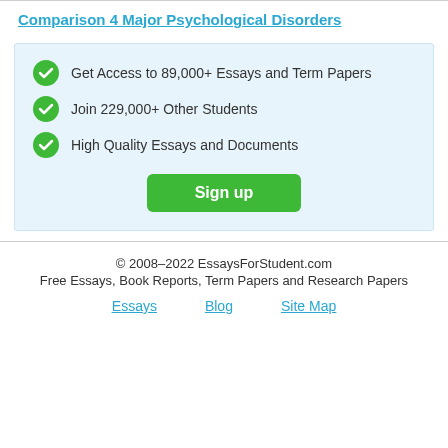Comparison 4 Major Psychological Disorders
Get Access to 89,000+ Essays and Term Papers
Join 229,000+ Other Students
High Quality Essays and Documents
Sign up
© 2008–2022 EssaysForStudent.com
Free Essays, Book Reports, Term Papers and Research Papers
Essays  Blog  Site Map